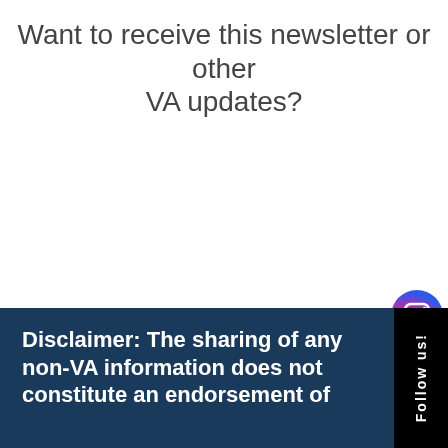Want to receive this newsletter or other VA updates?
[Figure (infographic): Four social media icons in circular format on the right side: Instagram (gradient orange/pink/purple), YouTube (red), Twitter/bird (teal), Facebook (dark blue). Arranged vertically on the right edge.]
Disclaimer: The sharing of any non-VA information does not constitute an endorsement of